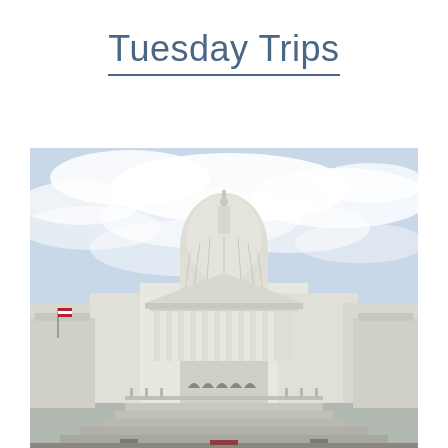Tuesday Trips
[Figure (photo): Photograph of the United States Capitol building facade, showing the iconic white dome with a statue on top, columned portico, steps leading up to the entrance, and a partly cloudy sky in the background.]